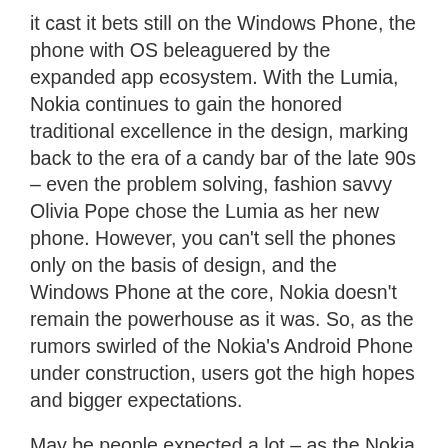it cast it bets still on the Windows Phone, the phone with OS beleaguered by the expanded app ecosystem. With the Lumia, Nokia continues to gain the honored traditional excellence in the design, marking back to the era of a candy bar of the late 90s – even the problem solving, fashion savvy Olivia Pope chose the Lumia as her new phone. However, you can't sell the phones only on the basis of design, and the Windows Phone at the core, Nokia doesn't remain the powerhouse as it was. So, as the rumors swirled of the Nokia's Android Phone under construction, users got the high hopes and bigger expectations.
May be people expected a lot – as the Nokia X was launched last year, it was a larger letdown. Not even the design or the trademark sturdiness could overcome the fact that the phone was just a rehash of the current phones without having the essence of Android. As per the Nokia, the X lies in the mid of its features on the Asha